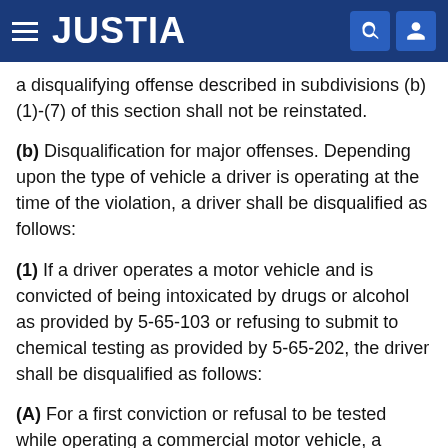JUSTIA
a disqualifying offense described in subdivisions (b)(1)-(7) of this section shall not be reinstated.
(b) Disqualification for major offenses. Depending upon the type of vehicle a driver is operating at the time of the violation, a driver shall be disqualified as follows:
(1) If a driver operates a motor vehicle and is convicted of being intoxicated by drugs or alcohol as provided by 5-65-103 or refusing to submit to chemical testing as provided by 5-65-202, the driver shall be disqualified as follows:
(A) For a first conviction or refusal to be tested while operating a commercial motor vehicle, a person required to have a commercial driver license or a commercial driver license shall be disqualified